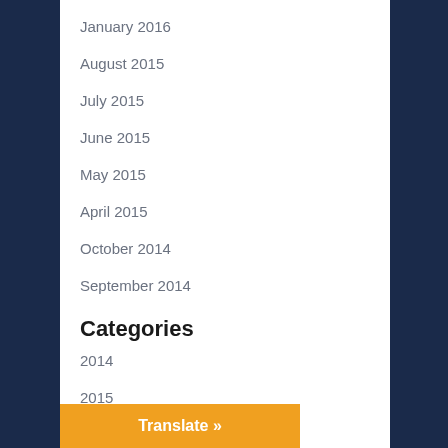January 2016
August 2015
July 2015
June 2015
May 2015
April 2015
October 2014
September 2014
Categories
2014
2015
news
Uncategorized
videos
Translate »